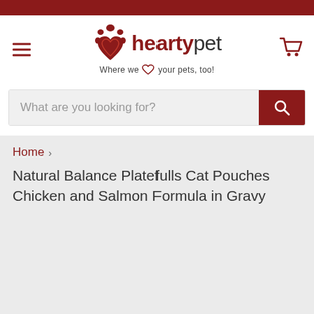[Figure (logo): HeartPet logo with paw print and heart icon, tagline 'Where we heart your pets, too!']
What are you looking for?
Home › Natural Balance Platefulls Cat Pouches Chicken and Salmon Formula in Gravy
Natural Balance Platefulls Cat Pouches Chicken and Salmon Formula in Gravy